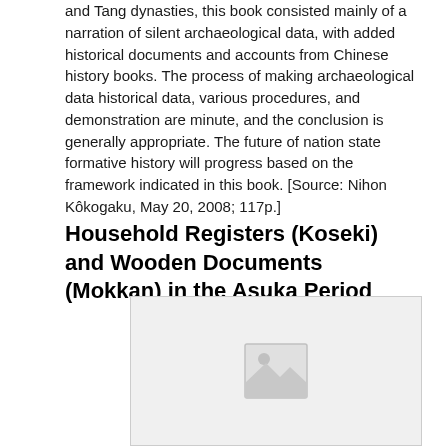and Tang dynasties, this book consisted mainly of a narration of silent archaeological data, with added historical documents and accounts from Chinese history books. The process of making archaeological data historical data, various procedures, and demonstration are minute, and the conclusion is generally appropriate. The future of nation state formative history will progress based on the framework indicated in this book. [Source: Nihon Kôkogaku, May 20, 2008; 117p.]
Household Registers (Koseki) and Wooden Documents (Mokkan) in the Asuka Period
[Figure (photo): Placeholder image with a mountain/landscape icon indicating an image to be inserted.]